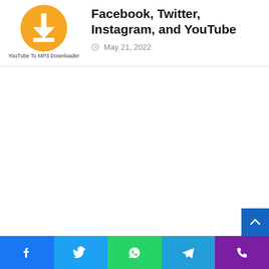[Figure (logo): Orange circle with white download arrow icon and text 'YouTube To MP3 Downloader' below]
Facebook, Twitter, Instagram, and YouTube
May 21, 2022
[Figure (other): Social media share bar at bottom with Facebook, Twitter, WhatsApp, Telegram, and Phone icons]